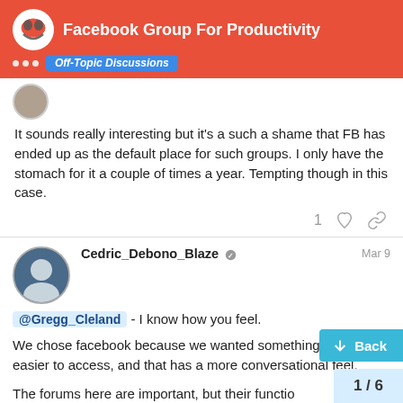Facebook Group For Productivity — Off-Topic Discussions
It sounds really interesting but it's a such a shame that FB has ended up as the default place for such groups. I only have the stomach for it a couple of times a year. Tempting though in this case.
1 [like] [link]
Cedric_Debono_Blaze  Mar 9
@Gregg_Cleland - I know how you feel.

We chose facebook because we wanted something that is easier to access, and that has a more conversational feel.

The forums here are important, but their function is primarily educational. For the facebook group, we wanted somewhere people can chat and also exchange ideas,
Back
1 / 6